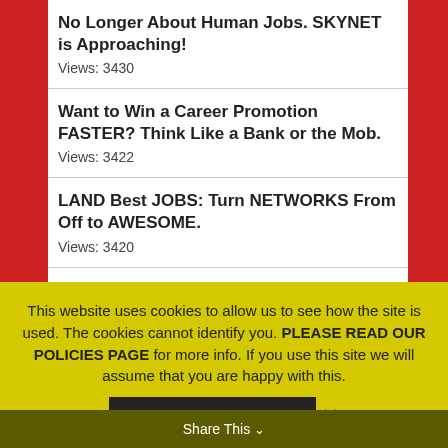No Longer About Human Jobs. SKYNET is Approaching!
Views: 3430
Want to Win a Career Promotion FASTER? Think Like a Bank or the Mob.
Views: 3422
LAND Best JOBS: Turn NETWORKS From Off to AWESOME.
Views: 3420
CRUSH ADDICTION(s) Part-11: SUPPORT TOOLS, the Great Equalizer.
Views: 3395
This website uses cookies to allow us to see how the site is used. The cookies cannot identify you. PLEASE READ OUR POLICIES PAGE for more info. If you use this site we will assume that you are happy with this.
Share This